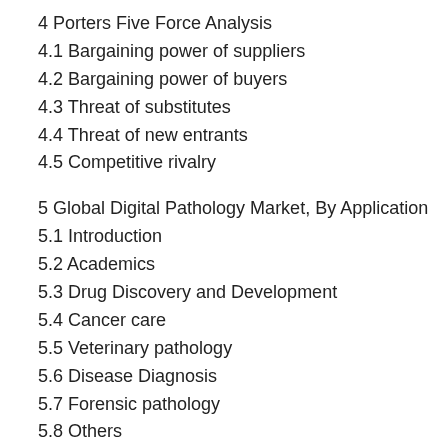4 Porters Five Force Analysis
4.1 Bargaining power of suppliers
4.2 Bargaining power of buyers
4.3 Threat of substitutes
4.4 Threat of new entrants
4.5 Competitive rivalry
5 Global Digital Pathology Market, By Application
5.1 Introduction
5.2 Academics
5.3 Drug Discovery and Development
5.4 Cancer care
5.5 Veterinary pathology
5.6 Disease Diagnosis
5.7 Forensic pathology
5.8 Others